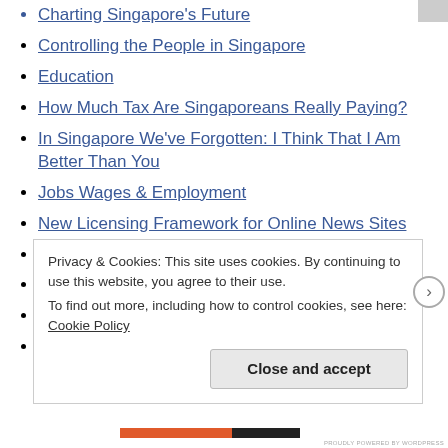Charting Singapore's Future
Controlling the People in Singapore
Education
How Much Tax Are Singaporeans Really Paying?
In Singapore We've Forgotten: I Think That I Am Better Than You
Jobs Wages & Employment
New Licensing Framework for Online News Sites
Singapore Haze 2013
Singapore Perspectives 2013: Governance
Singapore Population White Paper 2013
Uncategorized
Privacy & Cookies: This site uses cookies. By continuing to use this website, you agree to their use. To find out more, including how to control cookies, see here: Cookie Policy